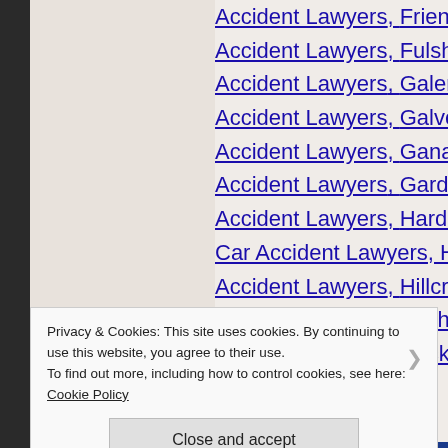Accident Lawyers, Frienl...
Accident Lawyers, Fulsh...
Accident Lawyers, Galer...
Accident Lawyers, Galve...
Accident Lawyers, Gana...
Accident Lawyers, Garde...
Accident Lawyers, Hardi...
Car Accident Lawyers, H...
Accident Lawyers, Hillcre...
Accident Lawyers, Hitche...
Accident Lawyers, Hockl...
Accident Lawyers, Honb...
Privacy & Cookies: This site uses cookies. By continuing to use this website, you agree to their use. To find out more, including how to control cookies, see here: Cookie Policy